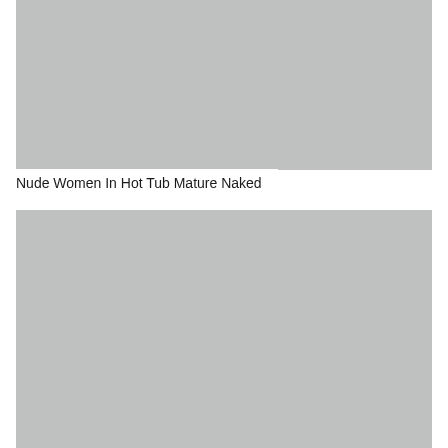[Figure (photo): Gray placeholder rectangle representing a photo (top image)]
Nude Women In Hot Tub Mature Naked
[Figure (photo): Gray placeholder rectangle representing a photo (bottom image)]